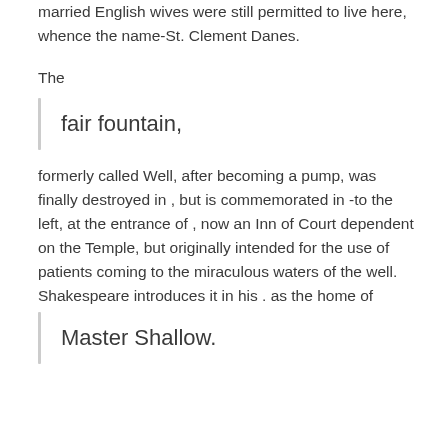married English wives were still permitted to live here, whence the name-St. Clement Danes.
The
fair fountain,
formerly called Well, after becoming a pump, was finally destroyed in , but is commemorated in -to the left, at the entrance of , now an Inn of Court dependent on the Temple, but originally intended for the use of patients coming to the miraculous waters of the well. Shakespeare introduces it in his . as the home of
Master Shallow.